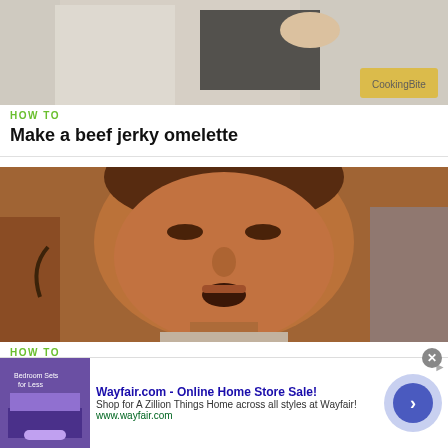[Figure (photo): Partial video thumbnail showing a person in a kitchen with white coat, with a yellow logo overlay bottom right (CookingBite or similar)]
HOW TO
Make a beef jerky omelette
[Figure (photo): Video thumbnail showing a close-up of a man's face looking down toward the camera in a kitchen setting with brownish-orange tones]
HOW TO
Hard boil eggs for beginners
[Figure (infographic): Advertisement banner for Wayfair.com - Online Home Store Sale! with purple thumbnail showing bedroom furniture, arrow button, close button, and ad attribution arrow]